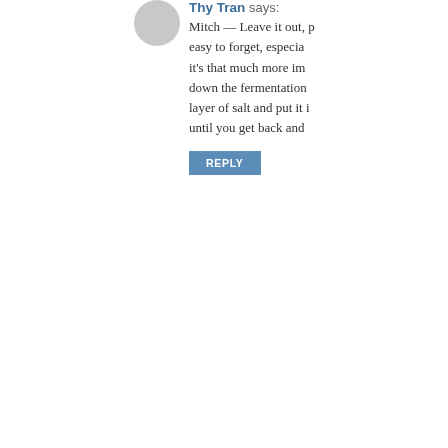Thy Tran says: Mitch — Leave it out, easy to forget, especially it's that much more imp... down the fermentation layer of salt and put it i... until you get back and
REPLY
Ruby says: Hello I have just made my first m... 30 years ago. It smells alcoholic... some way to deepen the flavor?... bookmark and check this page?... Thanks, Ruby
REPLY
Thy Tran says: Ruby, I've never exper...